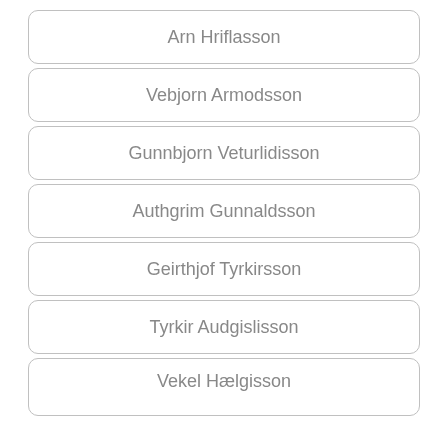Arn Hriflasson
Vebjorn Armodsson
Gunnbjorn Veturlidisson
Authgrim Gunnaldsson
Geirthjof Tyrkirsson
Tyrkir Audgislisson
Vekel Hælgisson